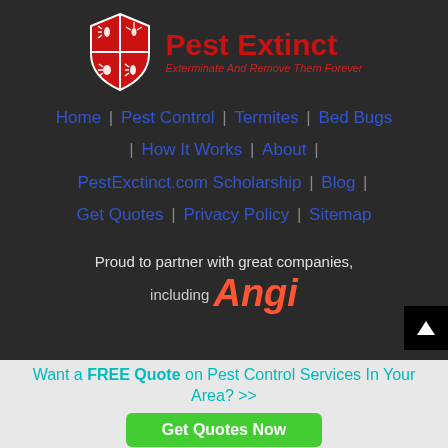[Figure (logo): Pest Extinct logo with red shield containing pest icons and red text 'Pest Extinct' with italic subtitle 'Exterminate And Remove Them Forever']
Home | Pest Control | Termites | Bed Bugs | How It Works | About | PestExctinct.com Scholarship | Blog | Get Quotes | Privacy Policy | Sitemap
Proud to partner with great companies, including Angi
Want a FREE Quote on Pest Control Services In Your Area? >>
Get Quotes Now